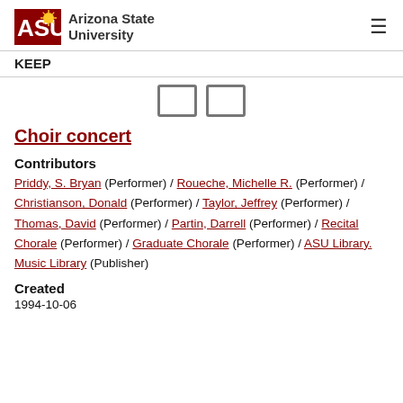ASU Arizona State University  KEEP
[Figure (other): Two small square icon placeholders shown side by side]
Choir concert
Contributors
Priddy, S. Bryan (Performer) / Roueche, Michelle R. (Performer) / Christianson, Donald (Performer) / Taylor, Jeffrey (Performer) / Thomas, David (Performer) / Partin, Darrell (Performer) / Recital Chorale (Performer) / Graduate Chorale (Performer) / ASU Library. Music Library (Publisher)
Created
1994-10-06